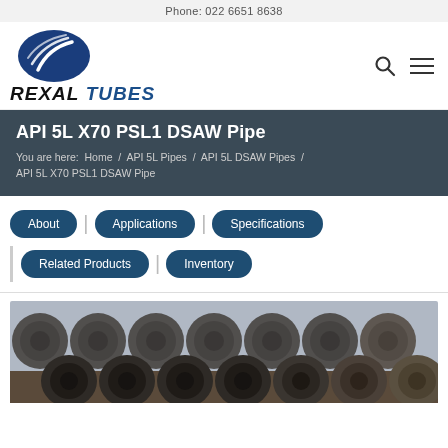Phone: 022 6651 8638
[Figure (logo): Rexal Tubes logo with blue swoosh emblem and bold italic company name]
API 5L X70 PSL1 DSAW Pipe
You are here:  Home  /  API 5L Pipes  /  API 5L DSAW Pipes  /  API 5L X70 PSL1 DSAW Pipe
About
Applications
Specifications
Related Products
Inventory
[Figure (photo): Stacked large-diameter steel DSAW pipes viewed from the open ends, showing circular pipe cross-sections arranged in rows]